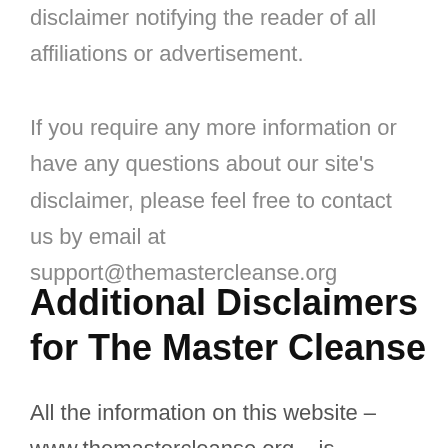disclaimer notifying the reader of all affiliations or advertisement.
If you require any more information or have any questions about our site's disclaimer, please feel free to contact us by email at support@themastercleanse.org
Additional Disclaimers for The Master Cleanse
All the information on this website – www.themastercleanse.org – is published